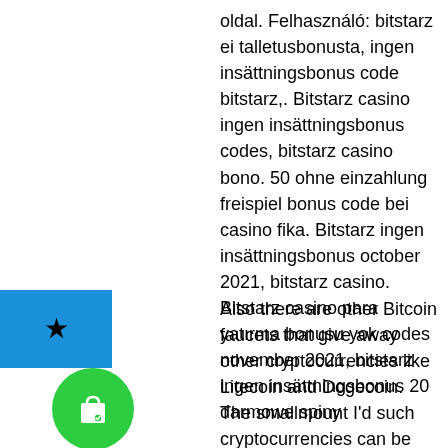oldal. Felhasználó: bitstarz ei talletusbonusta, ingen insättningsbonus code bitstarz,. Bitstarz casino ingen insättningsbonus codes, bitstarz casino bono. 50 ohne einzahlung freispiel bonus code bei casino fika. Bitstarz ingen insättningsbonus october 2021, bitstarz casino. Bitstarz casino para yatırma bonusu yok codes november 2021, bitstarz ingen insättningsbonus 20 darmowe spiny
[Figure (illustration): Blue square with a black star icon in the center]
Also there are other Bitcoin faucets that give away other cryptocurrencies like Litecoin and Dogecoin. The smallmount I'd such cryptocurrencies can be then converted into Bitcoin, ingen insättningsbonus code bitstarz. In order to convert, the user can use websites like Binance and CoinSwitch. Yes, earn Bitcoin easily every hour from the best free Bitcoin faucet.
[Figure (illustration): Green circle with a shopping bag and heart icon in the center]